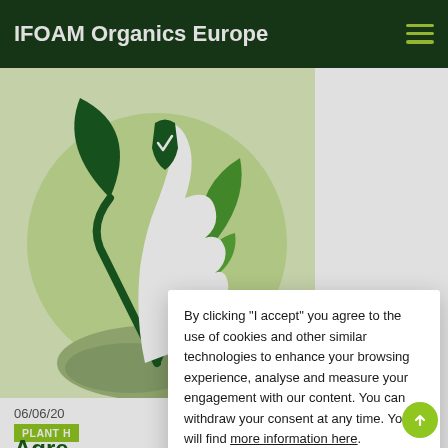IFOAM Organics Europe
[Figure (illustration): Green plant with leaves growing from soil with a shield/checkmark icon above, on a light green circular background — organic certification illustration]
06/06/20
PLANT H
Agre stati
By clicking “I accept” you agree to the use of cookies and other similar technologies to enhance your browsing experience, analyse and measure your engagement with our content. You can withdraw your consent at any time. You will find more information here.
I accept
I do not accept